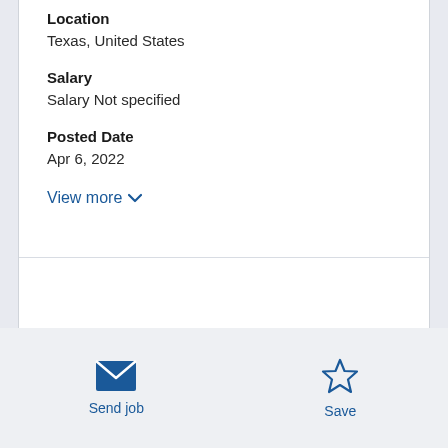Location
Texas, United States
Salary
Salary Not specified
Posted Date
Apr 6, 2022
View more
Send job
Save